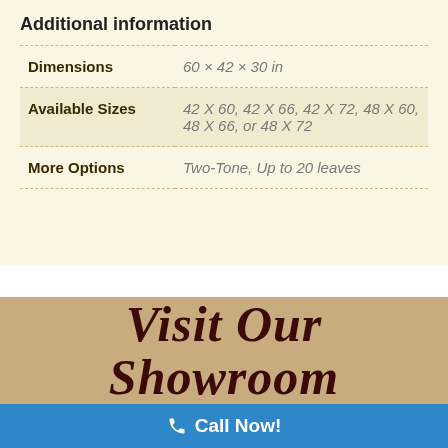Additional information
|  |  |
| --- | --- |
| Dimensions | 60 × 42 × 30 in |
| Available Sizes | 42 X 60, 42 X 66, 42 X 72, 48 X 60, 48 X 66, or 48 X 72 |
| More Options | Two-Tone, Up to 20 leaves |
Visit Our Showroom
Call Now!